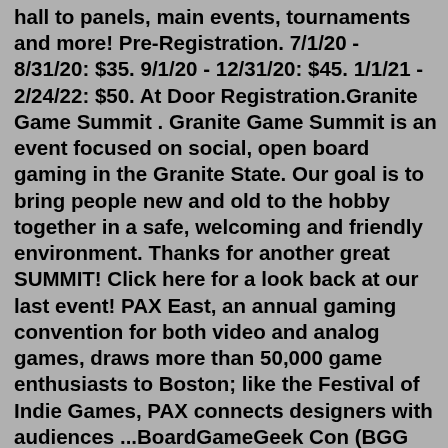hall to panels, main events, tournaments and more! Pre-Registration. 7/1/20 - 8/31/20: $35. 9/1/20 - 12/31/20: $45. 1/1/21 - 2/24/22: $50. At Door Registration.Granite Game Summit . Granite Game Summit is an event focused on social, open board gaming in the Granite State. Our goal is to bring people new and old to the hobby together in a safe, welcoming and friendly environment. Thanks for another great SUMMIT! Click here for a look back at our last event! PAX East, an annual gaming convention for both video and analog games, draws more than 50,000 game enthusiasts to Boston; like the Festival of Indie Games, PAX connects designers with audiences ...BoardGameGeek Con (BGG Con SPRING) BGG Con SPRING is coming up in May. As you can expect, this is the BoardGameGeek convention from the website that you probably use every day for all of your board game needs. In the past, attendees have gotten games on registration and board games are played abundantly.paul-burton-